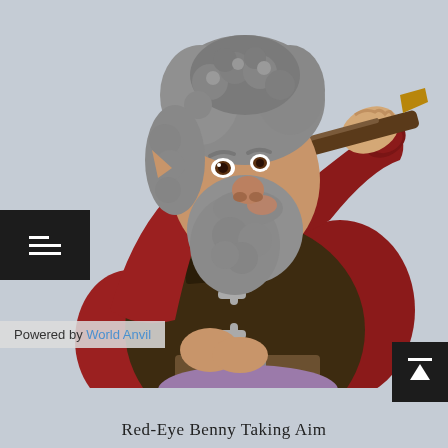[Figure (illustration): 3D rendered illustration of a fantasy gnome or dwarf character named Red-Eye Benny, with grey curly hair and beard, pointed ears, wearing a dark brown vest with silver toggle clasps over a red long-sleeve shirt, holding a blowpipe or spyglass up to his mouth/eye. He also has a grey leather belt buckle. The background is a light grey-blue color.]
Red-Eye Benny Taking Aim